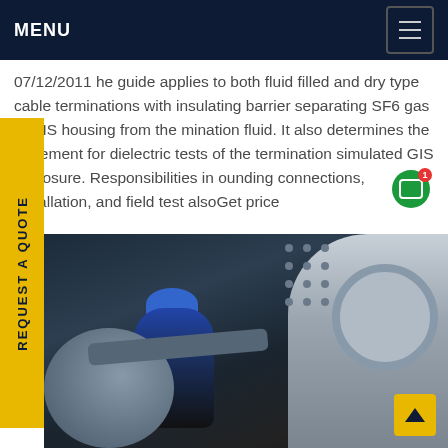MENU
07/12/2011 he guide applies to both fluid filled and dry type cable terminations with insulating barrier separating SF6 gas in GIS housing from the mination fluid. It also determines the angement for dielectric tests of the termination simulated GIS enclosure. Responsibilities in ounding connections, installation, and field test alsoGet price
[Figure (photo): Industrial GIS (Gas Insulated Switchgear) installation showing a worker in blue hard hat and protective gear next to large cylindrical equipment and enclosures in a factory/substation setting]